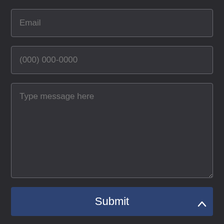[Figure (screenshot): Email input field with placeholder text 'Email' on dark background]
[Figure (screenshot): Phone number input field with placeholder text '(000) 000-0000' on dark background]
[Figure (screenshot): Textarea with placeholder text 'Type message here' on dark background]
[Figure (screenshot): Submit button with dark blue background and white 'Submit' text]
[Figure (screenshot): Scroll-to-top button with dark blue background and white caret/chevron icon, positioned bottom right]